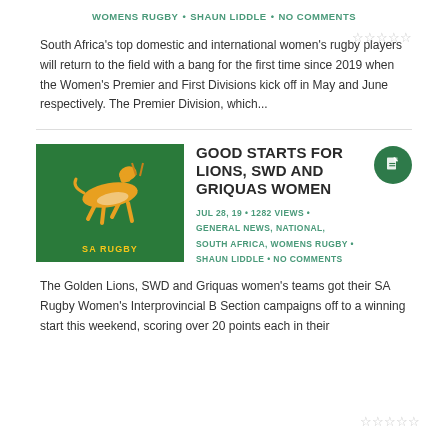WOMENS RUGBY • SHAUN LIDDLE • NO COMMENTS
South Africa's top domestic and international women's rugby players will return to the field with a bang for the first time since 2019 when the Women's Premier and First Divisions kick off in May and June respectively. The Premier Division, which...
[Figure (logo): SA Rugby springbok logo on green background]
GOOD STARTS FOR LIONS, SWD AND GRIQUAS WOMEN
JUL 28, 19 • 1282 VIEWS • GENERAL NEWS, NATIONAL, SOUTH AFRICA, WOMENS RUGBY • SHAUN LIDDLE • NO COMMENTS
The Golden Lions, SWD and Griquas women's teams got their SA Rugby Women's Interprovincial B Section campaigns off to a winning start this weekend, scoring over 20 points each in their